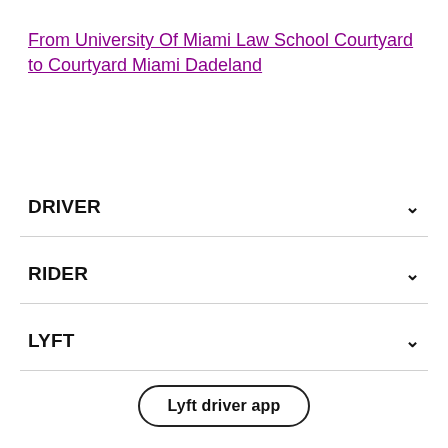From University Of Miami Law School Courtyard to Courtyard Miami Dadeland
DRIVER
RIDER
LYFT
Lyft driver app